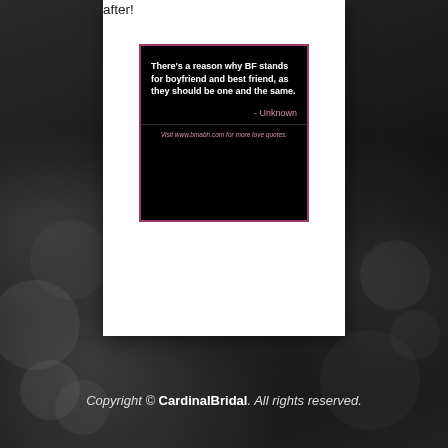after!
[Figure (illustration): Black background image with pink/white text quote: 'There's a reason why BF stands for boyfriend and best friend, as they should be one and the same. - Unknown' and footer text 'Visit www.bmabh.com for more love quotes.']
Copyright © CardinalBridal. All rights reserved.